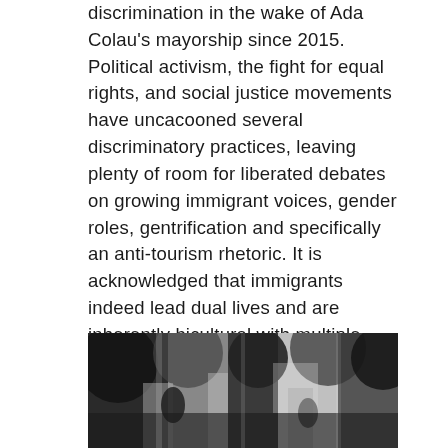discrimination in the wake of Ada Colau's mayorship since 2015. Political activism, the fight for equal rights, and social justice movements have uncacooned several discriminatory practices, leaving plenty of room for liberated debates on growing immigrant voices, gender roles, gentrification and specifically an anti-tourism rhetoric. It is acknowledged that immigrants indeed lead dual lives and are inherently bicultural with multiple identities.
[Figure (photo): Black and white photograph showing people in what appears to be an indoor setting, with abstract or artistic elements visible.]